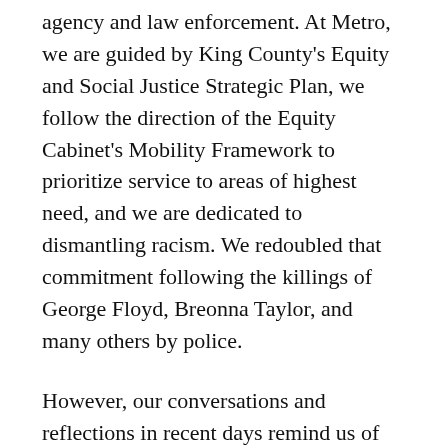agency and law enforcement. At Metro, we are guided by King County's Equity and Social Justice Strategic Plan, we follow the direction of the Equity Cabinet's Mobility Framework to prioritize service to areas of highest need, and we are dedicated to dismantling racism. We redoubled that commitment following the killings of George Floyd, Breonna Taylor, and many others by police.
However, our conversations and reflections in recent days remind us of the role that law enforcement has played historically in our nation and continues to represent for many within the communities we are most called to serve. It is within that frame that Metro strengthens its June 3 statement by clarifying that, under no circumstances including through the County's